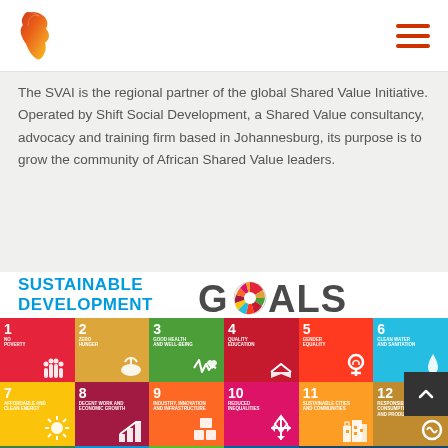[Figure (logo): Africa-shaped logo in red/orange gradient stripes, top-left header]
[Figure (illustration): Hamburger menu icon (three horizontal red lines), top-right header]
The SVAI is the regional partner of the global Shared Value Initiative. Operated by Shift Social Development, a Shared Value consultancy, advocacy and training firm based in Johannesburg, its purpose is to grow the community of African Shared Value leaders.
[Figure (infographic): UN Sustainable Development Goals logo: 'SUSTAINABLE DEVELOPMENT GOALS' text with multicolor circular SDG wheel icon replacing the 'O' in GOALS]
[Figure (infographic): Grid of UN SDG colored tiles: Goal 1 No Poverty (red), Goal 2 Zero Hunger (gold), Goal 3 Good Health and Well-Being (green), Goal 4 Quality Education (red), Goal 5 Gender Equality (red-orange), Goal 6 Clean Water and Sanitation (blue); Goal 7 Affordable and Clean Energy (yellow), Goal 8 Decent Work and Economic Growth (dark red), Goal 9 Industry Innovation and Infrastructure (orange), Goal 10 Reduced Inequalities (magenta), Goal 11 Sustainable Cities and Communities (gold), Goal 12 Responsible Consumption and Production (gold-brown); partial row: Goal 13 Climate, Goal 14 Life..., Goal 15 Life..., Goal 16 Peace Justice, Goal 17 Partnerships]